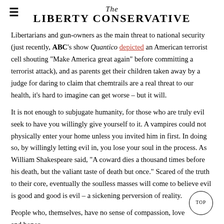The Liberty Conservative
Libertarians and gun-owners as the main threat to national security (just recently, ABC's show Quantico depicted an American terrorist cell shouting “Make America great again” before committing a terrorist attack), and as parents get their children taken away by a judge for daring to claim that chemtrails are a real threat to our health, it’s hard to imagine can get worse – but it will.
It is not enough to subjugate humanity, for those who are truly evil seek to have you willingly give yourself to it. A vampires could not physically enter your home unless you invited him in first. In doing so, by willingly letting evil in, you lose your soul in the process. As William Shakespeare said, “A coward dies a thousand times before his death, but the valiant taste of death but once.” Scared of the truth to their core, eventually the soulless masses will come to believe evil is good and good is evil – a sickening perversion of reality.
People who, themselves, have no sense of compassion, love and honor